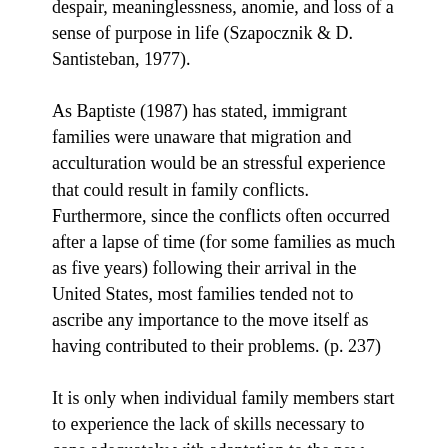despair, meaninglessness, anomie, and loss of a sense of purpose in life (Szapocznik & D. Santisteban, 1977).
As Baptiste (1987) has stated, immigrant families were unaware that migration and acculturation would be an stressful experience that could result in family conflicts. Furthermore, since the conflicts often occurred after a lapse of time (for some families as much as five years) following their arrival in the United States, most families tended not to ascribe any importance to the move itself as having contributed to their problems. (p. 237)
It is only when individual family members start to experience the lack of skills necessary to cope adequately with adaptation to the new culture that symptoms of maladaptive behaviors and family disorganization appear, and they begin to recognize